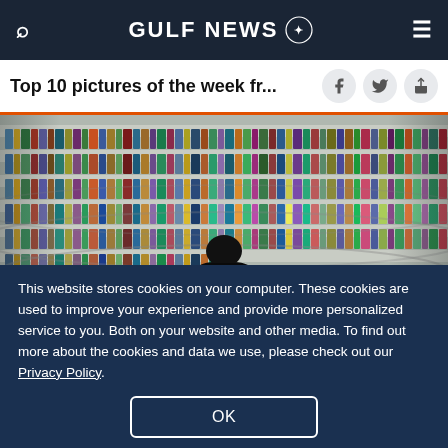GULF NEWS
Top 10 pictures of the week fr...
[Figure (photo): A woman in black abaya standing in front of a large curved bookshelf filled with colorful books in a modern library]
This website stores cookies on your computer. These cookies are used to improve your experience and provide more personalized service to you. Both on your website and other media. To find out more about the cookies and data we use, please check out our Privacy Policy.